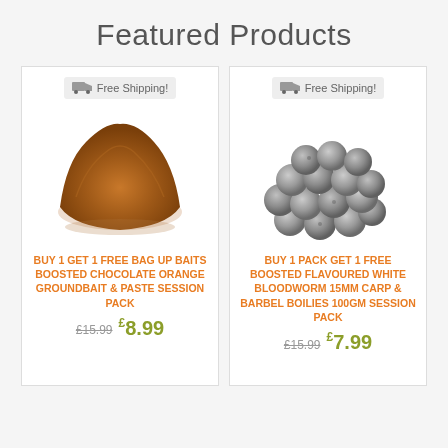Featured Products
[Figure (photo): Pile of brown chocolate orange groundbait powder]
Free Shipping!
BUY 1 GET 1 FREE BAG UP BAITS BOOSTED CHOCOLATE ORANGE GROUNDBAIT & PASTE SESSION PACK
£15.99  £8.99
[Figure (photo): Cluster of grey round boilies fishing bait balls]
Free Shipping!
BUY 1 PACK GET 1 FREE BOOSTED FLAVOURED WHITE BLOODWORM 15MM CARP & BARBEL BOILIES 100GM SESSION PACK
£15.99  £7.99